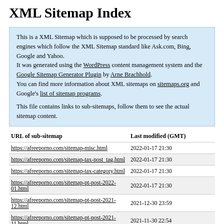XML Sitemap Index
This is a XML Sitemap which is supposed to be processed by search engines which follow the XML Sitemap standard like Ask.com, Bing, Google and Yahoo.
It was generated using the WordPress content management system and the Google Sitemap Generator Plugin by Arne Brachhold.
You can find more information about XML sitemaps on sitemaps.org and Google's list of sitemap programs.

This file contains links to sub-sitemaps, follow them to see the actual sitemap content.
| URL of sub-sitemap | Last modified (GMT) |
| --- | --- |
| https://afreeporno.com/sitemap-misc.html | 2022-01-17 21:30 |
| https://afreeporno.com/sitemap-tax-post_tag.html | 2022-01-17 21:30 |
| https://afreeporno.com/sitemap-tax-category.html | 2022-01-17 21:30 |
| https://afreeporno.com/sitemap-pt-post-2022-01.html | 2022-01-17 21:30 |
| https://afreeporno.com/sitemap-pt-post-2021-12.html | 2021-12-30 23:59 |
| https://afreeporno.com/sitemap-pt-post-2021-11.html | 2021-11-30 22:54 |